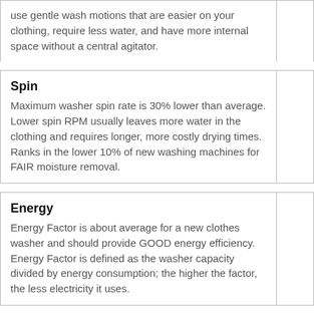use gentle wash motions that are easier on your clothing, require less water, and have more internal space without a central agitator.
Spin
Maximum washer spin rate is 30% lower than average. Lower spin RPM usually leaves more water in the clothing and requires longer, more costly drying times. Ranks in the lower 10% of new washing machines for FAIR moisture removal.
Energy
Energy Factor is about average for a new clothes washer and should provide GOOD energy efficiency. Energy Factor is defined as the washer capacity divided by energy consumption; the higher the factor, the less electricity it uses.
Water
The MVWC400XW Water Factor is about average for a